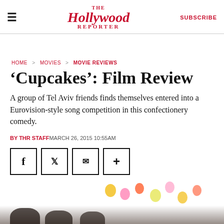≡  The Hollywood Reporter  SUBSCRIBE
HOME > MOVIES > MOVIE REVIEWS
'Cupcakes': Film Review
A group of Tel Aviv friends finds themselves entered into a Eurovision-style song competition in this confectionery comedy.
BY THR STAFF MARCH 26, 2015 10:55AM
[Figure (other): Social sharing buttons: Facebook, Twitter, Email, More]
[Figure (photo): A group of people at what appears to be a party with colorful balloons and decorations in the background]